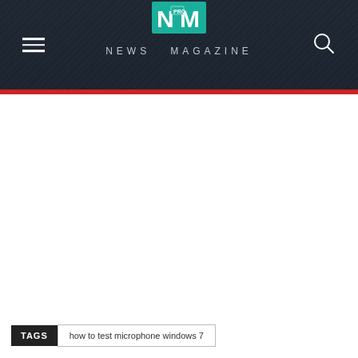NM PRO NEWS MAGAZINE
TAGS   how to test microphone windows 7